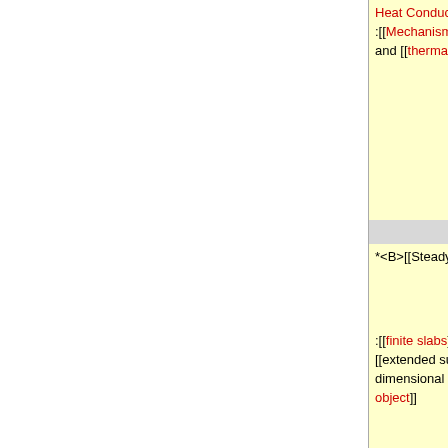- Heat Conduction </B> :[[Mechanism of heat conduction]], [[Fourier's law]] and [[thermal conductivity]].
+ conduction|Basics]] </B>
- *<B>[[Steady State Heat Conduction]]</B>
+ *<B>[[Steady state heat conduction|Steady State Heat Conduction]]</B> :[[One-dimensional steady-state heat conduction|One-dimensional heat conduction]], [[Steady-state heat conduction in plane and radial walls|plane and radial walls]], [[Heat conduction in extended surface|extended surface]], [[bioheat equation]], [[Steady-state two-dimensional conduction|two-
- :[[finite slabs]], [[hillow cylinders]], [[hollow spheres]], [[extended surface]], [[bioheat equation]], [[two-dimensional conduction]], [[conduction from burried object]]